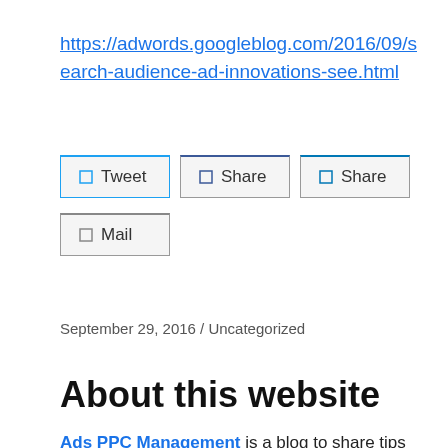https://adwords.googleblog.com/2016/09/search-audience-ad-innovations-see.html
[Figure (other): Social share buttons: Tweet, Share (Facebook), Share (LinkedIn), Mail]
September 29, 2016 / Uncategorized
About this website
Ads PPC Management is a blog to share tips and thoughts about Web marketing and